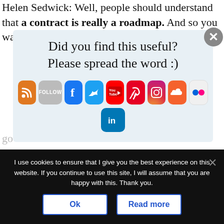Helen Sedwick: Well, people should understand that a contract is really a roadmap. And so you want to look at it as a roadmap, and see whether
[Figure (infographic): Social sharing prompt overlay with title 'Did you find this useful? Please spread the word :)' and social media icons (RSS, Follow, Facebook, Twitter, YouTube, Pinterest, Instagram, SoundCloud, Flickr, LinkedIn). Close X button in top right.]
go
going to be on their website. Walk through it and
I use cookies to ensure that I give you the best experience on this website. If you continue to use this site, I will assume that you are happy with this. Thank you.